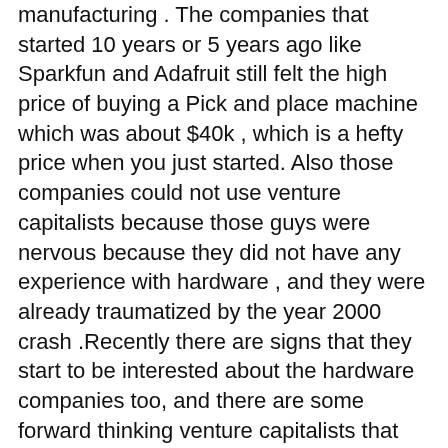manufacturing . The companies that started 10 years or 5 years ago like Sparkfun and Adafruit still felt the high price of buying a Pick and place machine which was about $40k , which is a hefty price when you just started. Also those companies could not use venture capitalists because those guys were nervous because they did not have any experience with hardware , and they were already traumatized by the year 2000 crash .Recently there are signs that they start to be interested about the hardware companies too, and there are some forward thinking venture capitalists that are already investing in hardware companies, and others might follow too.
	Today the you can buy a pick and place machine for $4k which is a 10 times lower price. It might be a bit smaller machine than the $40k one ,but is sufficient for a small shop. which could crank a few tens of boards a day.That might be enough and because is it is so easy to have a global presence , its customers might be a really small niche but enough to keep the business profitable.
	By keeping the prices relatively low , the products